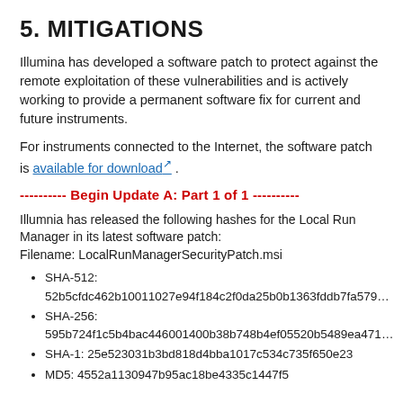5. MITIGATIONS
Illumina has developed a software patch to protect against the remote exploitation of these vulnerabilities and is actively working to provide a permanent software fix for current and future instruments.
For instruments connected to the Internet, the software patch is available for download® .
---------- Begin Update A: Part 1 of 1 ----------
Illumnia has released the following hashes for the Local Run Manager in its latest software patch:
Filename: LocalRunManagerSecurityPatch.msi
SHA-512: 52b5cfdc462b10011027e94f184c2f0da25b0b1363fddb7fa579...
SHA-256: 595b724f1c5b4bac446001400b38b748b4ef05520b5489ea471...
SHA-1: 25e523031b3bd818d4bba1017c534c735f650e23
MD5: 4552a1130947b95ac18be4335c1447f5